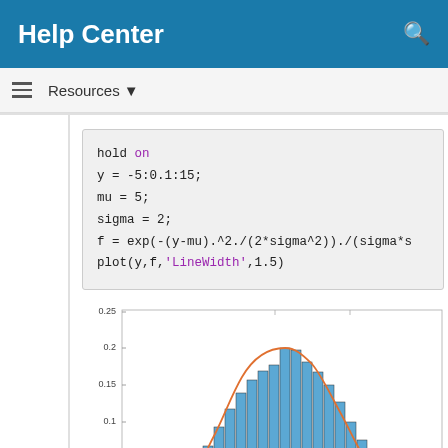Help Center
Resources ▼
hold on
y = -5:0.1:15;
mu = 5;
sigma = 2;
f = exp(-(y-mu).^2./(2*sigma^2))./(sigma*s
plot(y,f,'LineWidth',1.5)
[Figure (continuous-plot): Histogram of normally distributed data with a Gaussian curve overlay in orange. Y-axis shows values 0.05, 0.1, 0.15, 0.2, 0.25. Histogram bars are blue, curve is orange/red.]